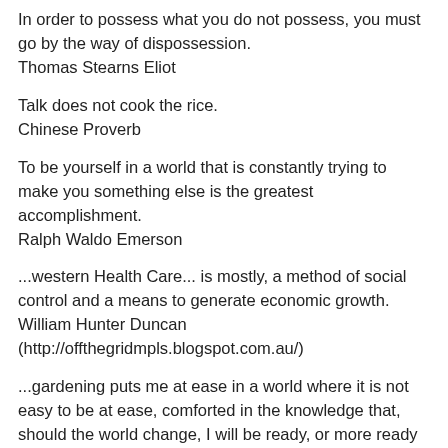In order to possess what you do not possess, you must go by the way of dispossession.
Thomas Stearns Eliot
Talk does not cook the rice.
Chinese Proverb
To be yourself in a world that is constantly trying to make you something else is the greatest accomplishment.
Ralph Waldo Emerson
...western Health Care... is mostly, a method of social control and a means to generate economic growth.
William Hunter Duncan
(http://offthegridmpls.blogspot.com.au/)
...gardening puts me at ease in a world where it is not easy to be at ease, comforted in the knowledge that, should the world change, I will be ready, or more ready anyway, than I would be had I pretended I am not part of this earth, that I am not part of ecosystems. I am of this earth, and every day my plants remind me.
William Hunter Duncan
(http://offthegridmpls.blogspot.com.au/)